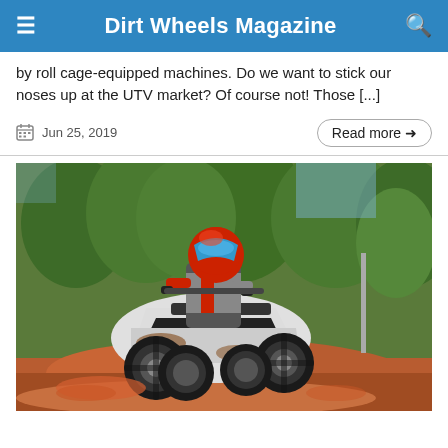Dirt Wheels Magazine
by roll cage-equipped machines. Do we want to stick our noses up at the UTV market? Of course not! Those [...]
Jun 25, 2019
Read more →
[Figure (photo): A rider in red and grey motocross gear and helmet riding a white ATV/quad on a red dirt trail with green trees in the background.]